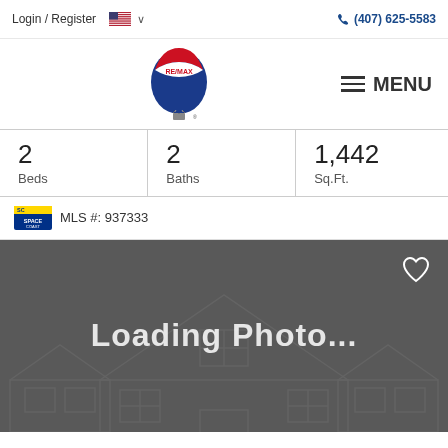Login / Register    (407) 625-5583
[Figure (logo): RE/MAX hot air balloon logo in red, white and blue with RE/MAX text]
MENU
| Beds | Baths | Sq.Ft. |
| --- | --- | --- |
| 2 | 2 | 1,442 |
MLS #: 937333
[Figure (photo): Loading Photo... placeholder with house outline graphic on dark gray background]